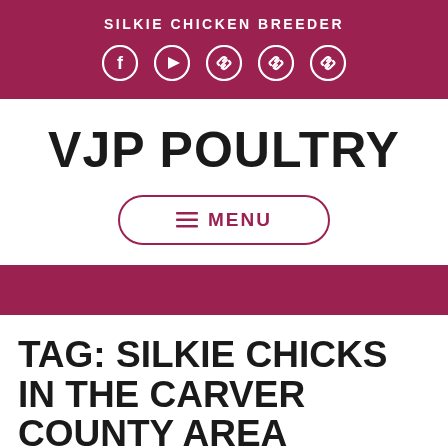SILKIE CHICKEN BREEDER
[Figure (infographic): Social media icons: Facebook, YouTube, and three chain/link icons, displayed in white on maroon background]
VJP POULTRY
≡ MENU
TAG: SILKIE CHICKS IN THE CARVER COUNTY AREA